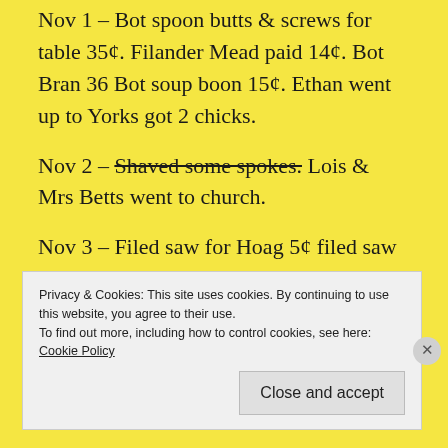Nov 1 – Bot spoon butts & screws for table 35¢. Filander Mead paid 14¢. Bot Bran 36 Bot soup boon 15¢. Ethan went up to Yorks got 2 chicks.
Nov 2 – Shaved some spokes. Lois & Mrs Betts went to church.
Nov 3 – Filed saw for Hoag 5¢ filed saw for Morton 10¢. Took colt up to Flanders. Bot oil 25¢.
Privacy & Cookies: This site uses cookies. By continuing to use this website, you agree to their use. To find out more, including how to control cookies, see here: Cookie Policy